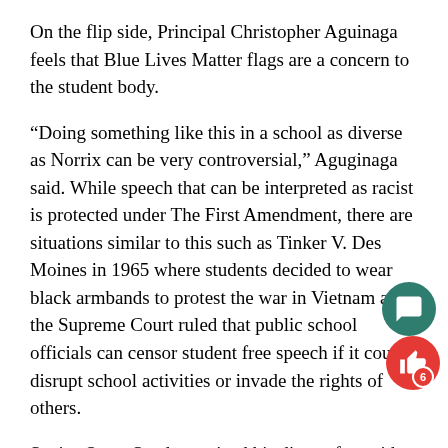On the flip side, Principal Christopher Aguinaga feels that Blue Lives Matter flags are a concern to the student body.
“Doing something like this in a school as diverse as Norrix can be very controversial,” Aguginaga said. While speech that can be interpreted as racist is protected under The First Amendment, there are situations similar to this such as Tinker V. Des Moines in 1965 where students decided to wear black armbands to protest the war in Vietnam and the Supreme Court ruled that public school officials can censor student free speech if it could disrupt school activities or invade the rights of others.
Senior Omar Sanders voiced his discomfort with the timing of the display of the flags on school grounds during Black History Month. Sanders said, “They we trying to intimidate us.”